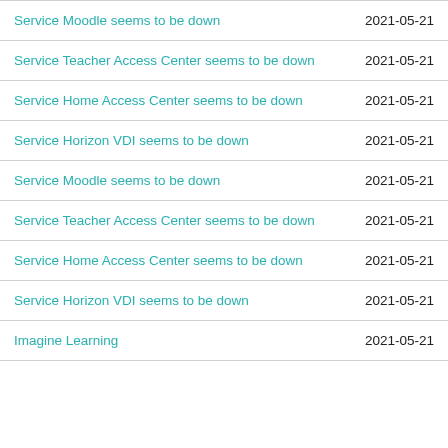| Title | Date |
| --- | --- |
| Service Moodle seems to be down | 2021-05-21 |
| Service Teacher Access Center seems to be down | 2021-05-21 |
| Service Home Access Center seems to be down | 2021-05-21 |
| Service Horizon VDI seems to be down | 2021-05-21 |
| Service Moodle seems to be down | 2021-05-21 |
| Service Teacher Access Center seems to be down | 2021-05-21 |
| Service Home Access Center seems to be down | 2021-05-21 |
| Service Horizon VDI seems to be down | 2021-05-21 |
| Imagine Learning | 2021-05-21 |